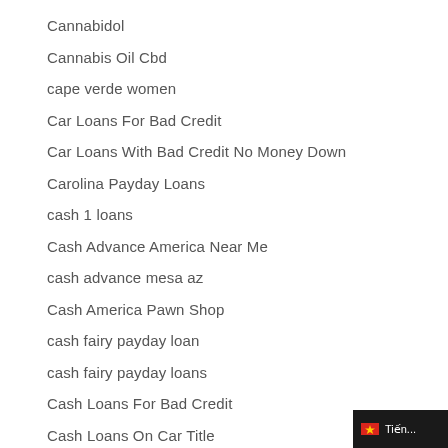Cannabidol
Cannabis Oil Cbd
cape verde women
Car Loans For Bad Credit
Car Loans With Bad Credit No Money Down
Carolina Payday Loans
cash 1 loans
Cash Advance America Near Me
cash advance mesa az
Cash America Pawn Shop
cash fairy payday loan
cash fairy payday loans
Cash Loans For Bad Credit
Cash Loans On Car Title
cash net usa